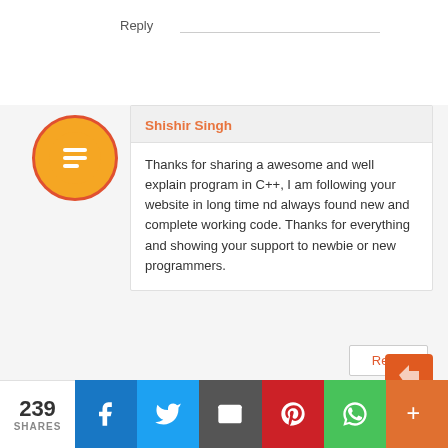Reply
[Figure (logo): Blogger orange circle logo with 'B' icon]
Shishir Singh
Thanks for sharing a awesome and well explain program in C++, I am following your website in long time nd always found new and complete working code. Thanks for everything and showing your support to newbie or new programmers.
Reply
239
SHARES